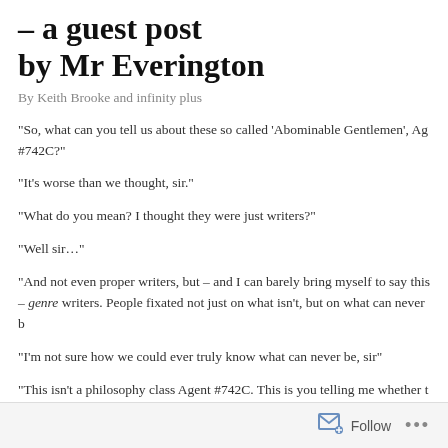– a guest post by Mr Everington
By Keith Brooke and infinity plus
“So, what can you tell us about these so called ‘Abominable Gentlemen’, Agent #742C?”
“It’s worse than we thought, sir.”
“What do you mean? I thought they were just writers?”
“Well sir…”
“And not even proper writers, but – and I can barely bring myself to say this – genre writers. People fixated not just on what isn’t, but on what can never b
“I’m not sure how we could ever truly know what can never be, sir”
“This isn’t a philosophy class Agent #742C. This is you telling me whether the Gentlemen really are Abominable. Or Gentlemen. What are they each like in when they’re not calling themselves damn silly names?”
“Alan Ryker is a cad, Sir, and Iain Rowan a rotter; Aaron Polson is a ruffian,